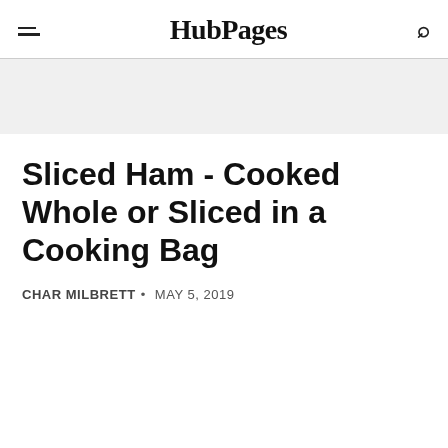HubPages
Sliced Ham - Cooked Whole or Sliced in a Cooking Bag
CHAR MILBRETT • MAY 5, 2019